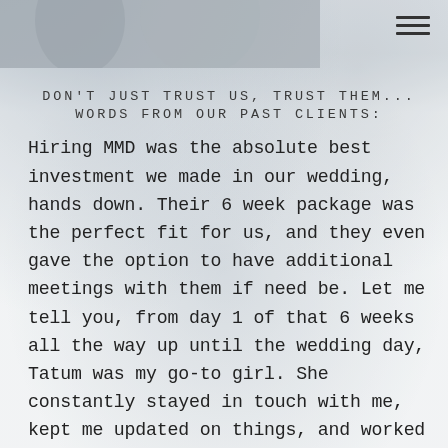[Figure (photo): Blurred wedding photo background showing couple and guests; top portion shows partial portrait photo strip]
DON'T JUST TRUST US, TRUST THEM... WORDS FROM OUR PAST CLIENTS:
Hiring MMD was the absolute best investment we made in our wedding, hands down. Their 6 week package was the perfect fit for us, and they even gave the option to have additional meetings with them if need be. Let me tell you, from day 1 of that 6 weeks all the way up until the wedding day, Tatum was my go-to girl. She constantly stayed in touch with me, kept me updated on things, and worked her butt off to make sure the day went smoothly, and it did. How often does that happen? And all through a pandemic might I add. Tatum is no